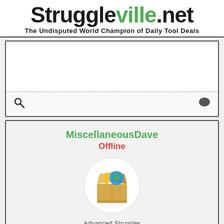Struggleville.net — The Undisputed World Champion of Daily Tool Deals
[Figure (screenshot): Navigation bar with search icon on left and chat icon on right, with dashed divider above]
MiscellaneousDave
Offline
[Figure (illustration): Cardboard box avatar with tools/items inside, displayed in a circular white frame]
Advanced Struggler